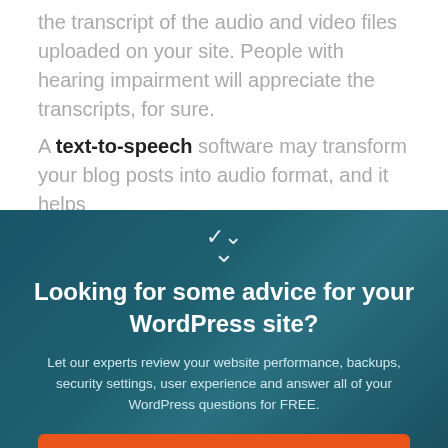the transcript of the audio and video files uploaded on your site. People with hearing impairment will appreciate the transcripts, for sure. A text-to-speech software may transform your blog posts into audio format, and it helps
Looking for some advice for your WordPress site?
Let our experts review your website performance, backups, security settings, user experience and answer all of your WordPress questions for FREE.
GET A FREE SITE REVIEW